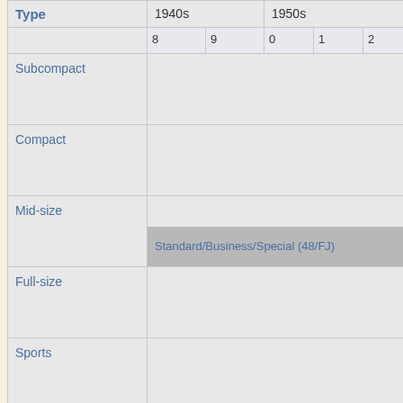| Type | 1940s |  |  | 1950s |  |  |
| --- | --- | --- | --- | --- | --- | --- |
|  | 8 | 9 | 0 | 1 | 2 | 3 |
| Subcompact |  |  |  |  |  |  |
| Compact |  |  |  |  |  |  |
| Mid-size | Standard/Business/Special (48/FJ) |  |  |  |  |  |
| Full-size |  |  |  |  |  |  |
| Sports |  |  |  |  |  |  |
| Utility |  |  |  | Utility (50/FJ) |  |  |